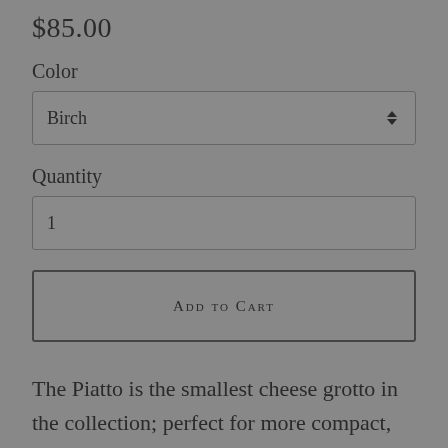$85.00
Color
Birch
Quantity
1
Add to Cart
The Piatto is the smallest cheese grotto in the collection; perfect for more compact, urban living. The unique